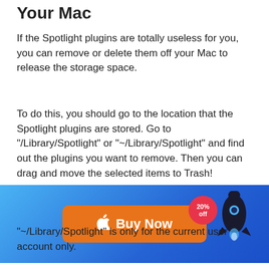Your Mac
If the Spotlight plugins are totally useless for you, you can remove or delete them off your Mac to release the storage space.
To do this, you should go to the location that the Spotlight plugins are stored. Go to "/Library/Spotlight" or "~/Library/Spotlight" and find out the plugins you want to remove. Then you can drag and move the selected items to Trash!
[Figure (infographic): Blue gradient advertisement banner with an orange 'Buy Now' button featuring an Apple logo, a red badge showing '20% off', and a rocket icon on the right.]
"~/Library/Spotlight" is only for the current user account only.